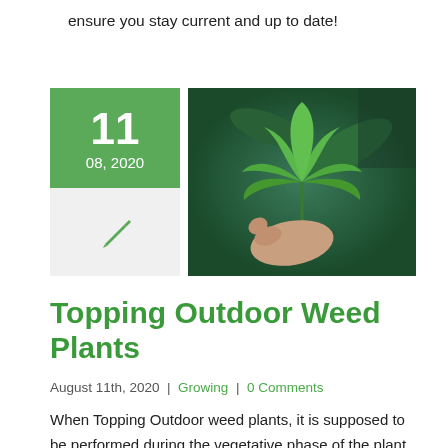ensure you stay current and up to date!
[Figure (illustration): Date block showing 11 / 08, 2020 in green, with a pen icon below, and a photo of a hand holding a cannabis plant with green leaves.]
Topping Outdoor Weed Plants
August 11th, 2020 | Growing | 0 Comments
When Topping Outdoor weed plants, it is supposed to be performed during the vegetative phase of the plant to redistribute the hormones for growth to the main